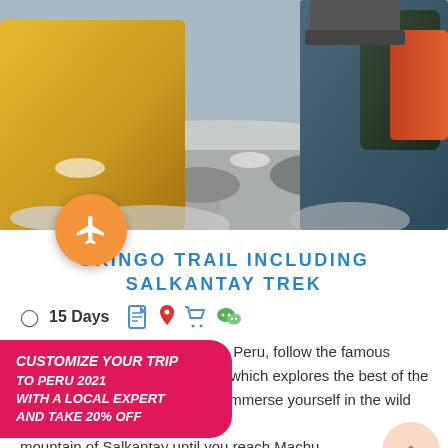[Figure (photo): Two hikers with backpacks in snowy mountain terrain, one in yellow jacket on left, one in teal/blue jacket with orange backpack on right]
GRINGO TRAIL INCLUDING SALKANTAY TREK
⊙ 15 Days
CUSTOMIZE YOUR TRIP TO PERU 2021 WITH A LOCAL EXPERT AND TAKE 20% OFF
p in Peru, follow the famous ary which explores the best of the nd immerse yourself in the wild mountain of Salkantay until you reach Machu
Message
★★★★★  101 Reviews